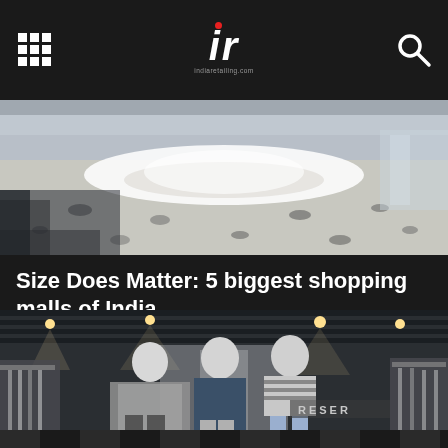IR (indiaretailing.com) — grid icon, logo, search icon
[Figure (photo): Overhead/aerial view of a busy shopping mall interior with people walking on multiple floors, escalators visible, bright lighting.]
Size Does Matter: 5 biggest shopping malls of India
[Figure (photo): Interior of a clothing retail store in a shopping mall showing three mannequins dressed in fashionable outfits — one in a fur coat, one in a navy dress, and one in a striped top with jeans. Clothing racks visible on both sides. RESER brand signage partially visible in background.]